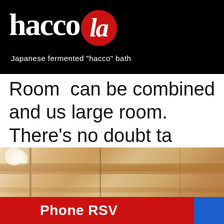haccola — Japanese fermented "hacco" bath
Room can be combined and us large room. There's no doubt ta friends and as a couple makes enjoyable.
[Figure (photo): Interior photo of a Japanese wooden room with wooden panels and ceiling light visible]
Phone RSV